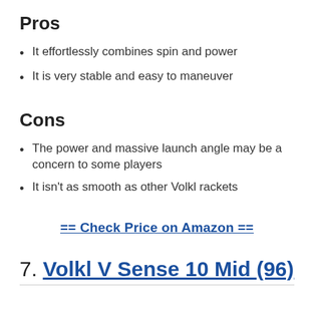Pros
It effortlessly combines spin and power
It is very stable and easy to maneuver
Cons
The power and massive launch angle may be a concern to some players
It isn’t as smooth as other Volkl rackets
== Check Price on Amazon ==
7. Volkl V Sense 10 Mid (96)